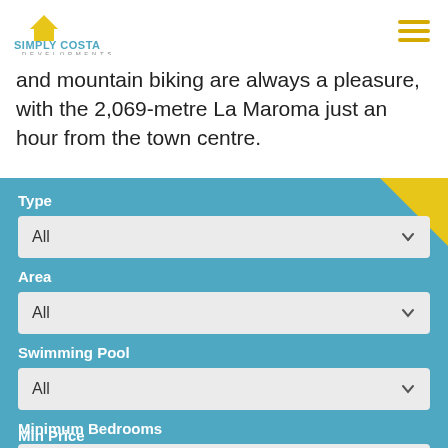Simply Costa Developments — navigation header with logo and hamburger menu
and mountain biking are always a pleasure, with the 2,069-metre La Maroma just an hour from the town centre.
Type
All
Area
All
Swimming Pool
All
Minimum Bedrooms
All
Min Price